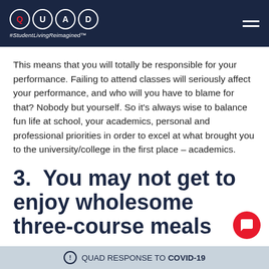QUAD #StudentLivingReimagined
This means that you will totally be responsible for your performance. Failing to attend classes will seriously affect your performance, and who will you have to blame for that? Nobody but yourself. So it’s always wise to balance fun life at school, your academics, personal and professional priorities in order to excel at what brought you to the university/college in the first place – academics.
3.  You may not get to enjoy wholesome three-course meals anymore
The student diet plight will strike as soon as you reach in
QUAD RESPONSE TO COVID-19